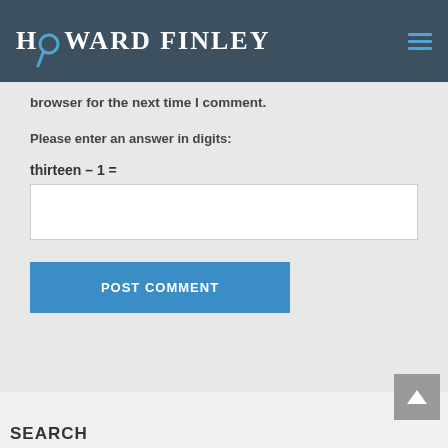HOWARD FINLEY
browser for the next time I comment.
Please enter an answer in digits:
SEARCH